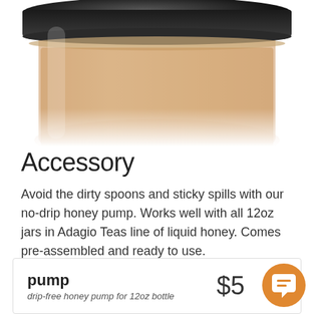[Figure (photo): Bottom portion of a glass jar with black lid containing honey-colored liquid, photographed on white background]
Accessory
Avoid the dirty spoons and sticky spills with our no-drip honey pump. Works well with all 12oz jars in Adagio Teas line of liquid honey. Comes pre-assembled and ready to use.
| Product | Description | Price |
| --- | --- | --- |
| pump | drip-free honey pump for 12oz bottle | $5 |